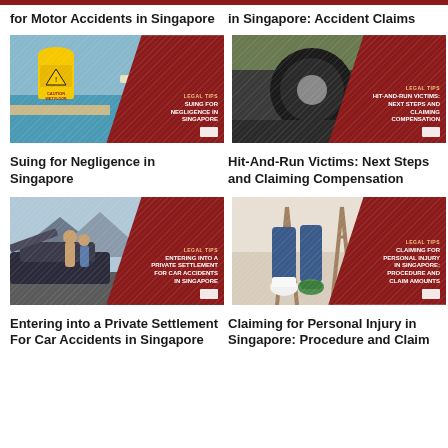[Figure (illustration): Article thumbnail: legal tips for motor accidents in Singapore - partial title visible at top]
for Motor Accidents in Singapore
[Figure (illustration): Article thumbnail: legal tips in Singapore accident claims - partial title visible at top]
in Singapore: Accident Claims
[Figure (photo): Yellow caution wet floor sign near pool with dark red diagonal banner: LEGAL TIPS / SUING FOR NEGLIGENCE IN SINGAPORE]
Suing for Negligence in Singapore
[Figure (photo): Car tire next to person on ground with dark red diagonal banner: LEGAL TIPS / HIT-AND-RUN VICTIMS: NEXT STEPS AND CLAIMING COMPENSATION]
Hit-And-Run Victims: Next Steps and Claiming Compensation
[Figure (photo): Two people examining a car with hood open, dark red diagonal banner: LEGAL TIPS / ENTERING INTO A PRIVATE SETTLEMENT FOR CAR ACCIDENTS IN SINGAPORE]
Entering into a Private Settlement For Car Accidents in Singapore
[Figure (photo): Person on crutches with bandaged foot, dark red diagonal banner: LEGAL TIPS / CLAIMING FOR PERSONAL INJURY IN SINGAPORE: PROCEDURE AND CLAIM AMOUNTS]
Claiming for Personal Injury in Singapore: Procedure and Claim